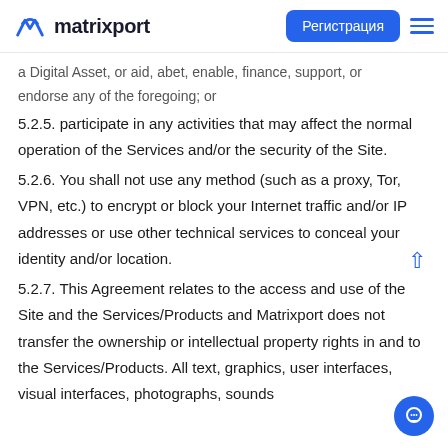matrixport | Регистрация
a Digital Asset, or aid, abet, enable, finance, support, or endorse any of the foregoing; or
5.2.5. participate in any activities that may affect the normal operation of the Services and/or the security of the Site.
5.2.6. You shall not use any method (such as a proxy, Tor, VPN, etc.) to encrypt or block your Internet traffic and/or IP addresses or use other technical services to conceal your identity and/or location.
5.2.7. This Agreement relates to the access and use of the Site and the Services/Products and Matrixport does not transfer the ownership or intellectual property rights in and to the Services/Products. All text, graphics, user interfaces, visual interfaces, photographs, sounds